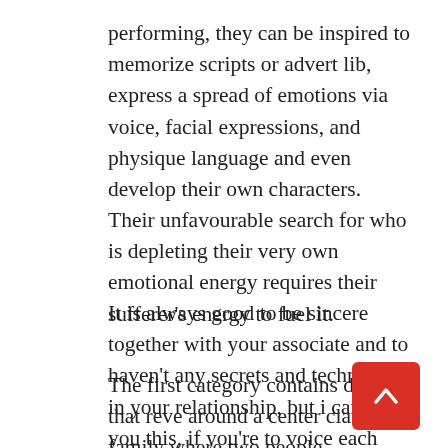performing, they can be inspired to memorize scripts or advert lib, express a spread of emotions via voice, facial expressions, and physique language and even develop their own characters. Their unfavourable search for who is depleting their very own emotional energy requires their sufferer's energy to fuel it.
It is always good to be sincere together with your associate and to haven't any secrets and techniques in your relationship, but i can tell you this, if you're to voice each little thought it's a must to your companion there can be no avoiding drama in your life.
The first category contains dramas that reve around a center class family where two people